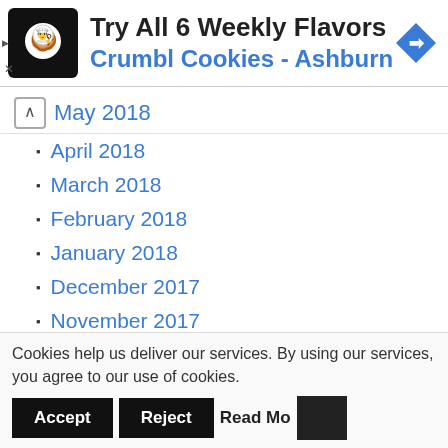[Figure (advertisement): Crumbl Cookies Ashburn ad banner with chef logo icon and navigation arrow icon]
May 2018
April 2018
March 2018
February 2018
January 2018
December 2017
November 2017
October 2017
September 2017
August 2017
Cookies help us deliver our services. By using our services, you agree to our use of cookies. Accept Reject Read More